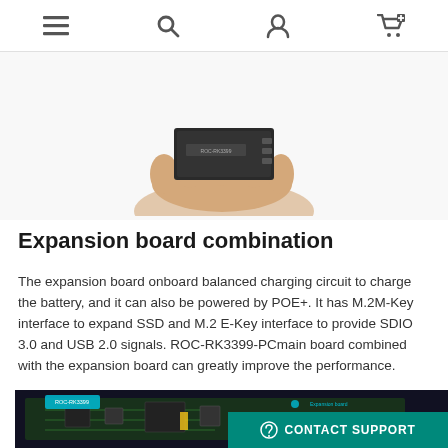Navigation header with menu, search, account, and cart icons
[Figure (photo): A hand holding a small black computer board/device (ROC-RK3399-PC or similar SBC)]
Expansion board combination
The expansion board onboard balanced charging circuit to charge the battery, and it can also be powered by POE+. It has M.2M-Key interface to expand SSD and M.2 E-Key interface to provide SDIO 3.0 and USB 2.0 signals. ROC-RK3399-PCmain board combined with the expansion board can greatly improve the performance.
[Figure (photo): Circuit board photo showing ROC-RK3399-PC main board and expansion board with labels]
CONTACT SUPPORT